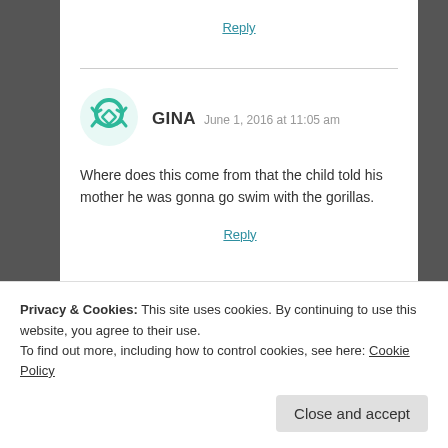Reply
GINA  June 1, 2016 at 11:05 am
Where does this come from that the child told his mother he was gonna go swim with the gorillas.
Reply
Privacy & Cookies: This site uses cookies. By continuing to use this website, you agree to their use.
To find out more, including how to control cookies, see here: Cookie Policy
Close and accept
Reply